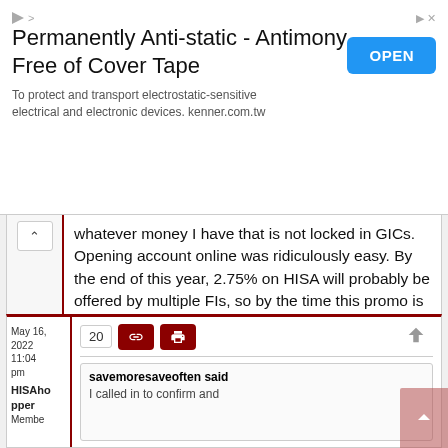[Figure (other): Advertisement banner: 'Permanently Anti-static - Antimony Free of Cover Tape'. Subtitle: 'To protect and transport electrostatic-sensitive electrical and electronic devices. kenner.com.tw'. Blue OPEN button on right.]
whatever money I have that is not locked in GICs. Opening account online was ridiculously easy. By the end of this year, 2.75% on HISA will probably be offered by multiple FIs, so by the time this promo is about to expire I'll start moving money out of Meridian to FIs with accounts having similar rates. Low daily transfer limits won't be an issue for me at that point.
May 16, 2022 11:04 pm
HISAhopper
Member
20
savemoresaveoften said
I called in to confirm and